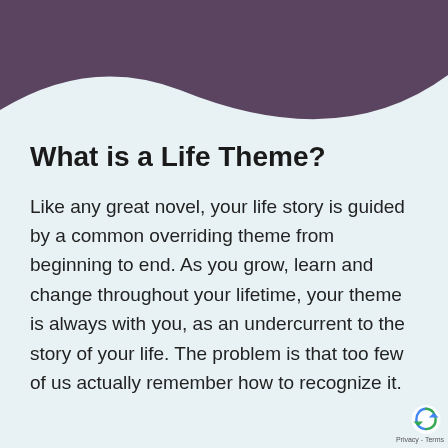[Figure (illustration): Decorative curved dark purple/mauve shape at the top of the page, forming a wave-like banner against a light blue-grey background]
What is a Life Theme?
Like any great novel, your life story is guided by a common overriding theme from beginning to end. As you grow, learn and change throughout your lifetime, your theme is always with you, as an undercurrent to the story of your life. The problem is that too few of us actually remember how to recognize it.